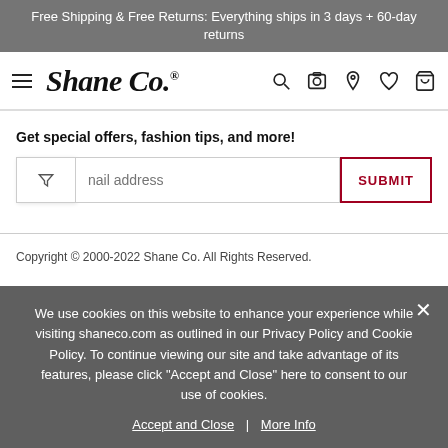Free Shipping & Free Returns: Everything ships in 3 days + 60-day returns
[Figure (logo): Shane Co. logo with hamburger menu and navigation icons (search, camera, location, heart, cart)]
Get special offers, fashion tips, and more!
Email address | SUBMIT
Copyright © 2000-2022 Shane Co. All Rights Reserved.
We use cookies on this website to enhance your experience while visiting shaneco.com as outlined in our Privacy Policy and Cookie Policy. To continue viewing our site and take advantage of its features, please click "Accept and Close" here to consent to our use of cookies.
Accept and Close | More Info